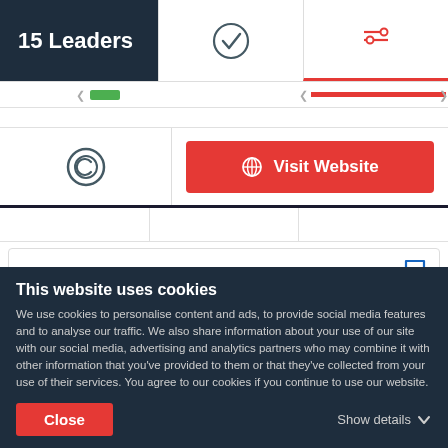15 Leaders
[Figure (screenshot): Navigation tab with checkmark icon (selected state)]
[Figure (screenshot): Navigation tab with filter/options icon, active tab with red underline]
[Figure (screenshot): Green progress bar segment and red underline bar in a row]
[Figure (screenshot): Copyright C icon on left, Visit Website red button on right]
[Figure (screenshot): Sure Oak company card with tree logo, company name and tagline, bookmark icon]
Sure Oak
Dream big. Grow your revenue with expert SEO.
This website uses cookies
We use cookies to personalise content and ads, to provide social media features and to analyse our traffic. We also share information about your use of our site with our social media, advertising and analytics partners who may combine it with other information that you've provided to them or that they've collected from your use of their services. You agree to our cookies if you continue to use our website.
Close
Show details